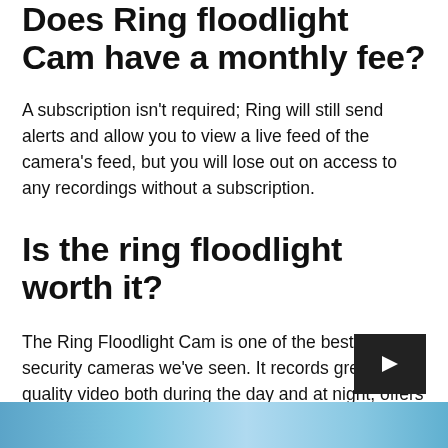Does Ring floodlight Cam have a monthly fee?
A subscription isn't required; Ring will still send alerts and allow you to view a live feed of the camera's feed, but you will lose out on access to any recordings without a subscription.
Is the ring floodlight worth it?
The Ring Floodlight Cam is one of the best outdoor security cameras we've seen. It records great quality video both during the day and at night, offers effective and clear two-way communication, and the addition of floodlights adds an extra layer of protection to your home.
[Figure (other): Navigation button with a right-pointing arrow triangle on dark background]
[Figure (photo): Partial image strip at bottom of page showing what appears to be an outdoor scene]